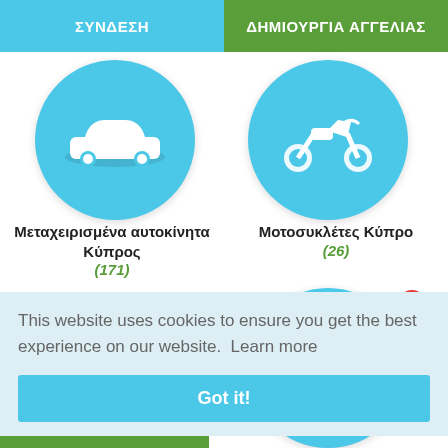ΣΥΝΔΕΣΗ   ΔΗΜΙΟΥΡΓΙΑ ΑΓΓΕΛΙΑΣ
[Figure (screenshot): Blue circle icon with white car silhouette for used cars category]
Μεταχειρισμένα αυτοκίνητα Κύπρος
(171)
[Figure (screenshot): Blue circle icon with white motorcycle silhouette for motorcycles category]
Μοτοσυκλέτες Κύπρο
(26)
[Figure (screenshot): Blue circle icon with white female figure silhouette and 18+ badge]
This website uses cookies to ensure you get the best experience on our website.  Learn more
Got it!
ιρο
ΑΓΓΕΛΙΑΣ